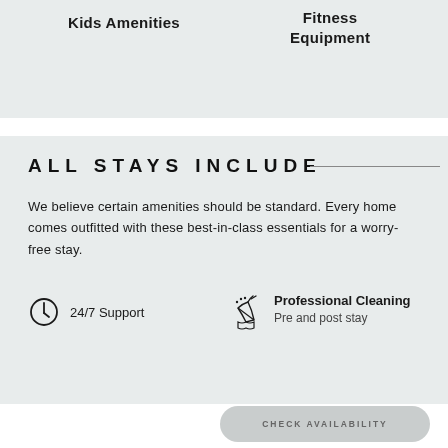Kids Amenities
Fitness Equipment
ALL STAYS INCLUDE
We believe certain amenities should be standard. Every home comes outfitted with these best-in-class essentials for a worry-free stay.
24/7 Support
Professional Cleaning — Pre and post stay
CHECK AVAILABILITY